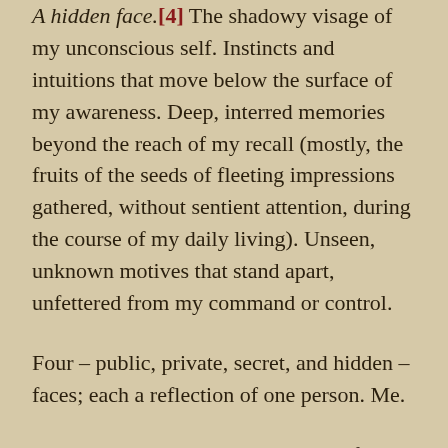A hidden face.[4] The shadowy visage of my unconscious self. Instincts and intuitions that move below the surface of my awareness. Deep, interred memories beyond the reach of my recall (mostly, the fruits of the seeds of fleeting impressions gathered, without sentient attention, during the course of my daily living). Unseen, unknown motives that stand apart, unfettered from my command or control.
Four – public, private, secret, and hidden – faces; each a reflection of one person. Me.
Long ago, I believed that the point of maturation was to move toward the integration of my faces into some